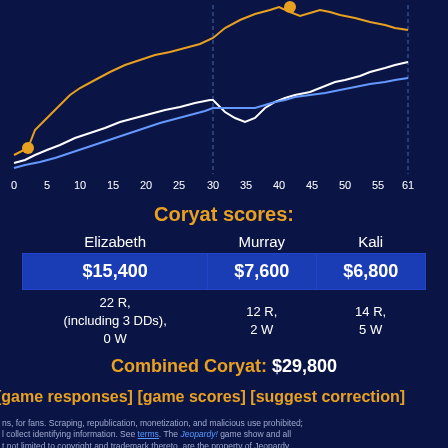[Figure (line-chart): Line chart on dark navy background showing cumulative Coryat scores over ~61 clues. Orange line (Elizabeth) starts near bottom-left with an orange dot around clue 3, rises steeply, peaks around clue 43 with a dot, then levels. White line (Kali) and blue line also shown rising over time.]
Coryat scores:
| Elizabeth | Murray | Kali |
| --- | --- | --- |
| $15,400 | $7,600 | $6,800 |
| 22 R, (including 3 DDs), 0 W | 12 R, 2 W | 14 R, 5 W |
Combined Coryat: $29,800
[game responses] [game scores] [suggest correction]
ns, for fans. Scraping, republication, monetization, and malicious use prohibited; l collect identifying information. See terms. The Jeopardy! game show and all t not limited to copyright and trademark thereto, are the property of Jeopardy ected under law. This website is not affiliated with, sponsored by, or operated by n the discussion at JBoard.tv.